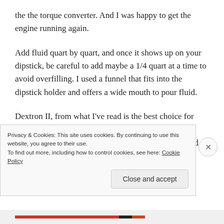the the torque converter. And I was happy to get the engine running again.
Add fluid quart by quart, and once it shows up on your dipstick, be careful to add maybe a 1/4 quart at a time to avoid overfilling. I used a funnel that fits into the dipstick holder and offers a wide mouth to pour fluid.
Dextron II, from what I've read is the best choice for your daily driver. Dextron VI seems to have replaced Dextron II, so I used D6. I've read Type F can be used for
Privacy & Cookies: This site uses cookies. By continuing to use this website, you agree to their use.
To find out more, including how to control cookies, see here: Cookie Policy
Close and accept